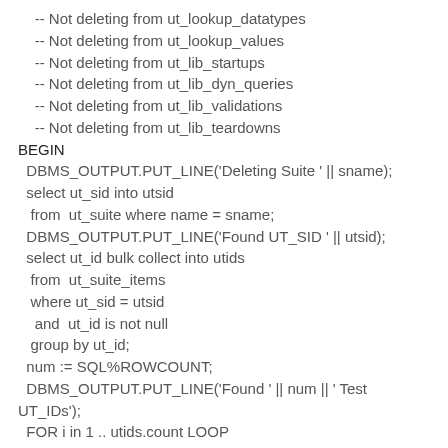-- Not deleting from ut_lookup_datatypes
    -- Not deleting from ut_lookup_values
    -- Not deleting from ut_lib_startups
    -- Not deleting from ut_lib_dyn_queries
    -- Not deleting from ut_lib_validations
    -- Not deleting from ut_lib_teardowns
BEGIN
  DBMS_OUTPUT.PUT_LINE('Deleting Suite ' || sname);
  select ut_sid into utsid
   from  ut_suite where name = sname;
  DBMS_OUTPUT.PUT_LINE('Found UT_SID ' || utsid);
  select ut_id bulk collect into utids
   from  ut_suite_items
   where ut_sid = utsid
    and  ut_id is not null
   group by ut_id;
  num := SQL%ROWCOUNT;
  DBMS_OUTPUT.PUT_LINE('Found ' || num || ' Test UT_IDs');
  FOR i in 1 .. utids.count LOOP
    delete from ut_test_coverage_stats
     where uti_id in (select uti_id from ut_test_impl